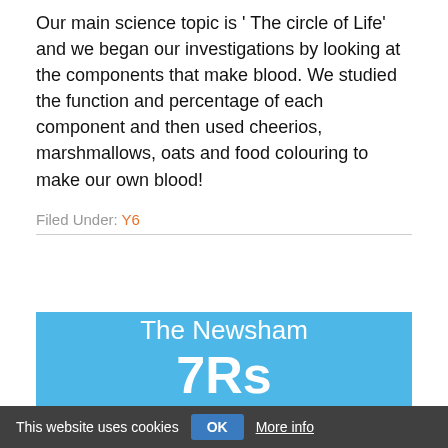Our main science topic is ' The circle of Life' and we began our investigations by looking at the components that make blood. We studied the function and percentage of each component and then used cheerios, marshmallows, oats and food colouring to make our own blood!
Filed Under: Y6
The Newsham 7Rs
This website uses cookies   OK   More info